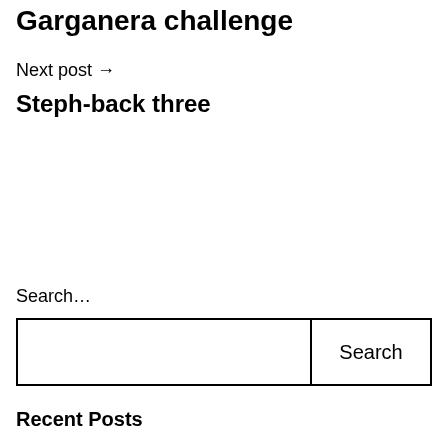Garganera challenge
Next post →
Steph-back three
Search…
Recent Posts